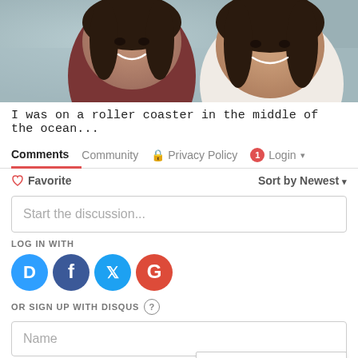[Figure (photo): Close-up selfie photo of two young women smiling, taken outdoors possibly on a boat or ferry, one wearing dark maroon top]
I was on a roller coaster in the middle of the ocean...
Comments | Community | Privacy Policy | 1 | Login
♡ Favorite    Sort by Newest ▾
Start the discussion...
LOG IN WITH
[Figure (logo): Social login icons: Disqus (blue D), Facebook (blue f), Twitter (blue bird), Google (red G)]
OR SIGN UP WITH DISQUS ?
Name
Privacy & Cookies Policy